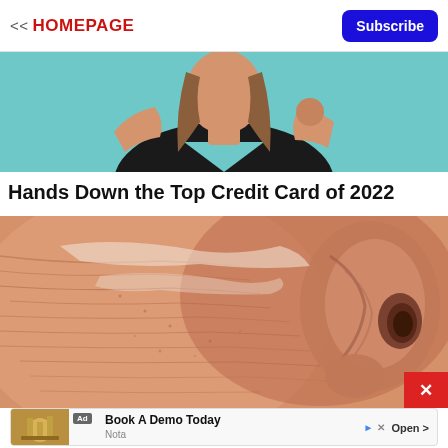<< HOMEPAGE
[Figure (photo): Woman in black v-neck shirt with teal/turquoise background, upper body visible, appears stressed or thinking]
Hands Down the Top Credit Card of 2022
[Figure (photo): Close-up macro photo of human skin near an ear, showing skin texture and pores in orange/pink tones]
[Figure (screenshot): Advertisement banner: 'Book A Demo Today' from Nota with Open button and close controls]